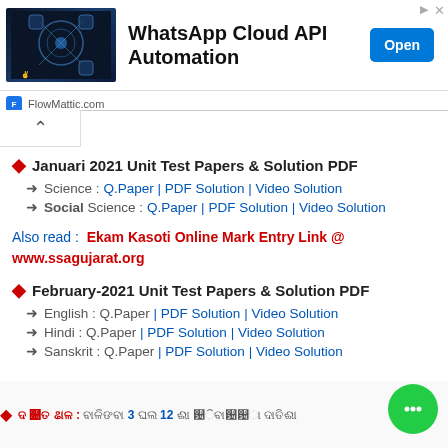[Figure (screenshot): Advertisement banner for WhatsApp Cloud API Automation by FlowMattic.com with an Open button]
Januari 2021 Unit Test Papers & Solution PDF
Science : Q.Paper | PDF Solution | Video Solution
Social Science : Q.Paper | PDF Solution | Video Solution
Also read : Ekam Kasoti Online Mark Entry Link @ www.ssagujarat.org
February-2021 Unit Test Papers & Solution PDF
English : Q.Paper | PDF Solution | Video Solution
Hindi : Q.Paper | PDF Solution | Video Solution
Sanskrit : Q.Paper | PDF Solution | Video Solution
[Gujarati text content at bottom - partially visible]